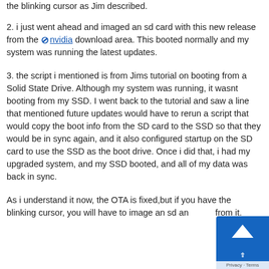the blinking cursor as Jim described.
2. i just went ahead and imaged an sd card with this new release from the nvidia download area. This booted normally and my system was running the latest updates.
3. the script i mentioned is from Jims tutorial on booting from a Solid State Drive. Although my system was running, it wasnt booting from my SSD. I went back to the tutorial and saw a line that mentioned future updates would have to rerun a script that would copy the boot info from the SD card to the SSD so that they would be in sync again, and it also configured startup on the SD card to use the SSD as the boot drive. Once i did that, i had my upgraded system, and my SSD booted, and all of my data was back in sync.
As i understand it now, the OTA is fixed,but if you have the blinking cursor, you will have to image an sd and boot from it.
[Figure (other): Back to top button - blue square with upward arrow]